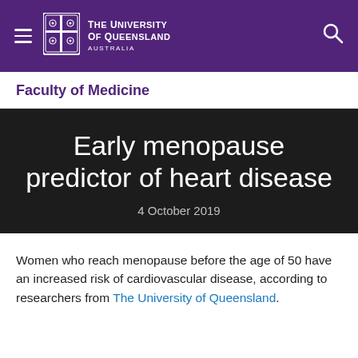The University Of Queensland Australia
Faculty of Medicine
Early menopause predictor of heart disease
4 October 2019
Women who reach menopause before the age of 50 have an increased risk of cardiovascular disease, according to researchers from The University of Queensland.